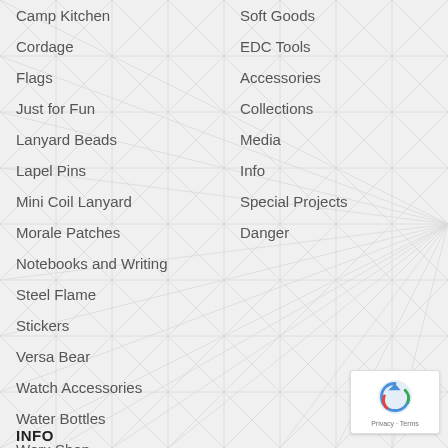Camp Kitchen
Cordage
Flags
Just for Fun
Lanyard Beads
Lapel Pins
Mini Coil Lanyard
Morale Patches
Notebooks and Writing
Steel Flame
Stickers
Versa Bear
Watch Accessories
Water Bottles
Werx Shop
Soft Goods
EDC Tools
Accessories
Collections
Media
Info
Special Projects
Danger
INFO